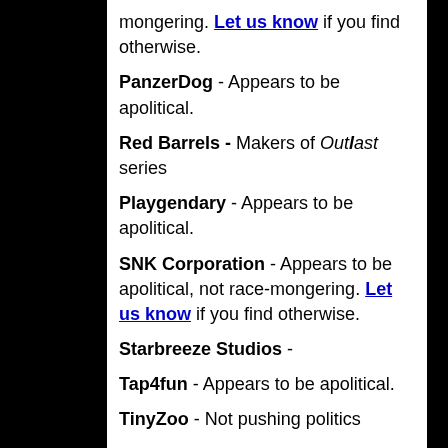mongering. Let us know if you find otherwise.
PanzerDog - Appears to be apolitical.
Red Barrels - Makers of Outlast series
Playgendary - Appears to be apolitical.
SNK Corporation - Appears to be apolitical, not race-mongering. Let us know if you find otherwise.
Starbreeze Studios -
Tap4fun - Appears to be apolitical.
TinyZoo - Not pushing politics
Wayforward Technologies - Appears to be apolitical.